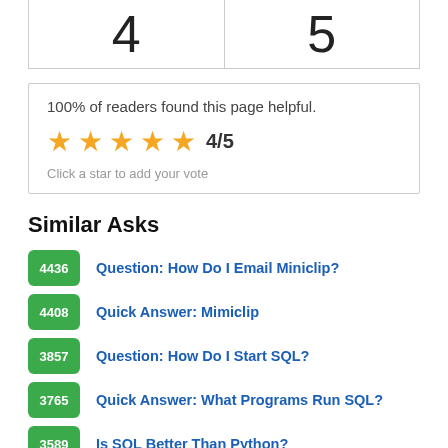| 4 | 5 |
| --- | --- |
100% of readers found this page helpful.
[Figure (other): Star rating widget showing 4/5 stars with click prompt]
Similar Asks
4436 Question: How Do I Email Miniclip?
4408 Quick Answer: Mimiclip
3857 Question: How Do I Start SQL?
3765 Quick Answer: What Programs Run SQL?
3589 Is SQL Better Than Python?
(partial badge visible)